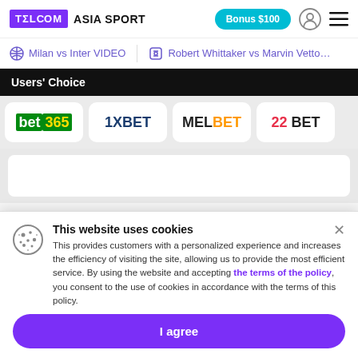TELECOM ASIA SPORT | Bonus $100
Milan vs Inter VIDEO | Robert Whittaker vs Marvin Vetto...
Users' Choice
[Figure (logo): Four betting platform logos: bet365, 1XBET, MELBET, 22BET]
This website uses cookies
This provides customers with a personalized experience and increases the efficiency of visiting the site, allowing us to provide the most efficient service. By using the website and accepting the terms of the policy, you consent to the use of cookies in accordance with the terms of this policy.
I agree